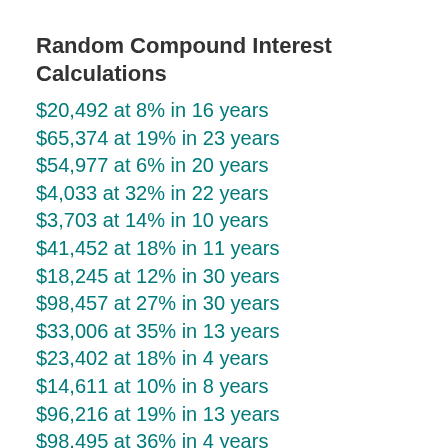Random Compound Interest Calculations
$20,492 at 8% in 16 years
$65,374 at 19% in 23 years
$54,977 at 6% in 20 years
$4,033 at 32% in 22 years
$3,703 at 14% in 10 years
$41,452 at 18% in 11 years
$18,245 at 12% in 30 years
$98,457 at 27% in 30 years
$33,006 at 35% in 13 years
$23,402 at 18% in 4 years
$14,611 at 10% in 8 years
$96,216 at 19% in 13 years
$98,495 at 36% in 4 years
$20,125 at 32% in 19 years
$49,763 at 34% in 22 years